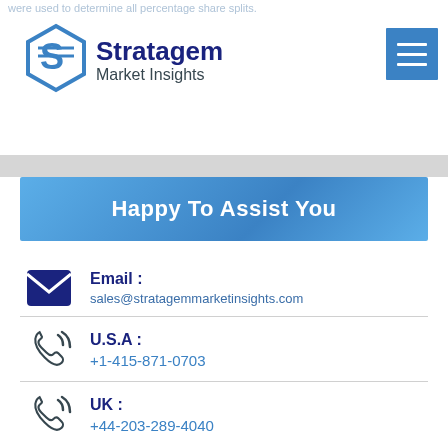were used to determine all percentage share splits.
[Figure (logo): Stratagem Market Insights logo with hexagonal S icon]
Happy To Assist You
Email : sales@stratagemmarketinsights.com
U.S.A : +1-415-871-0703
UK : +44-203-289-4040